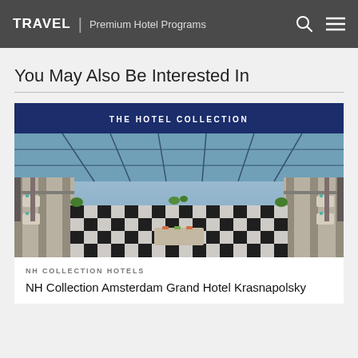TRAVEL | Premium Hotel Programs
You May Also Be Interested In
THE HOTEL COLLECTION
[Figure (photo): Interior of NH Collection Amsterdam Grand Hotel Krasnapolsky — a grand atrium/winter garden restaurant with black-and-white checkerboard floor, ornate iron balconies, glass roof, white columns, and dining tables set with teal accents.]
NH COLLECTION HOTELS
NH Collection Amsterdam Grand Hotel Krasnapolsky